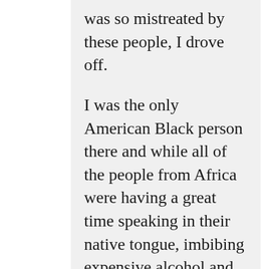was so mistreated by these people, I drove off.

I was the only American Black person there and while all of the people from Africa were having a great time speaking in their native tongue, imbibing expensive alcohol and eating native dishes, I was presented with a plate of burnt rice with a big piece of fat sat smack dab in the middle of the burnt rice and to wash this down with, a glass of water and I